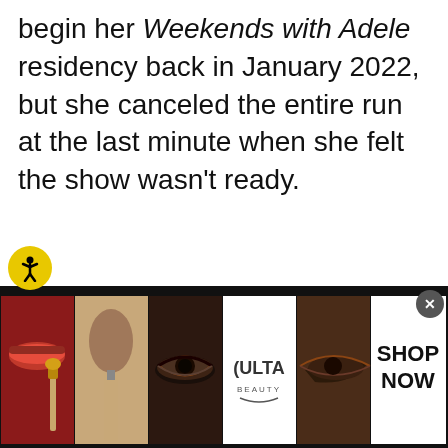begin her Weekends with Adele residency back in January 2022, but she canceled the entire run at the last minute when she felt the show wasn't ready.
[Figure (infographic): An advertisement banner for Ulta Beauty at the bottom of the page. It shows a strip of makeup-related images: lips with red lipstick and a brush, a makeup brush, eyes with dark eyeshadow, the Ulta Beauty logo, eyes with dramatic makeup, and a 'SHOP NOW' call to action. A close button (X) is in the top-right corner.]